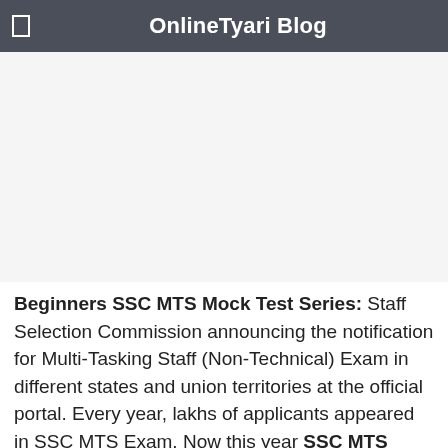OnlineTyari Blog
Beginners SSC MTS Mock Test Series: Staff Selection Commission announcing the notification for Multi-Tasking Staff (Non-Technical) Exam in different states and union territories at the official portal. Every year, lakhs of applicants appeared in SSC MTS Exam. Now this year SSC MTS Notice 2017 released for SSC MTS Recruitment 2017 online apply has been commenced from 31st December 2016 and will be closed on 30th January 2017.